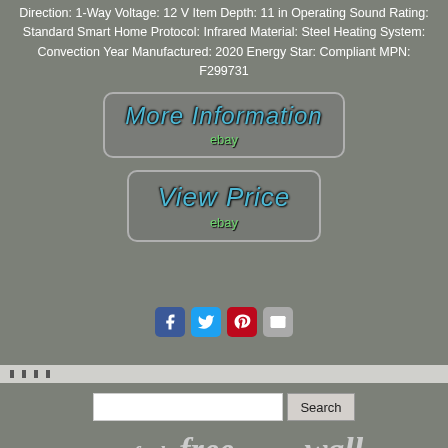Direction: 1-Way Voltage: 12 V Item Depth: 11 in Operating Sound Rating: Standard Smart Home Protocol: Infrared Material: Steel Heating System: Convection Year Manufactured: 2020 Energy Star: Compliant MPN: F299731
[Figure (screenshot): Button with italic text 'More Information' and 'ebay' label in rounded rectangle border]
[Figure (screenshot): Button with italic text 'View Price' and 'ebay' label in rounded rectangle border]
[Figure (infographic): Social share icons: Facebook (blue), Twitter (light blue), Pinterest (red), Email (grey)]
Search bar with Search button
space  fuel  free  control  wall